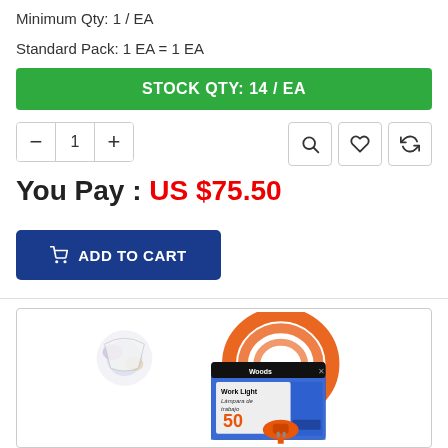Minimum Qty: 1 / EA
Standard Pack: 1 EA = 1 EA
STOCK QTY: 14 / EA
You Pay : US $75.50
ADD TO CART
[Figure (photo): Product image of a Woods Work Light / extension cord coiled in orange with packaging label showing '50' and 'Work Light / Lámpara de trabajo']